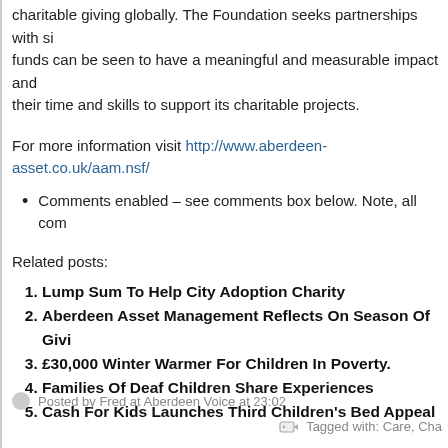charitable giving globally. The Foundation seeks partnerships with similar funds can be seen to have a meaningful and measurable impact and their time and skills to support its charitable projects.
For more information visit http://www.aberdeen-asset.co.uk/aam.nsf/
Comments enabled – see comments box below. Note, all com
Related posts:
Lump Sum To Help City Adoption Charity
Aberdeen Asset Management Reflects On Season Of Givi
£30,000 Winter Warmer For Children In Poverty.
Families Of Deaf Children Share Experiences
Cash For Kids Launches Third Children's Bed Appeal
Posted by Fred at Aberdeen Voice at 23:02
Tagged with: Care, Cha